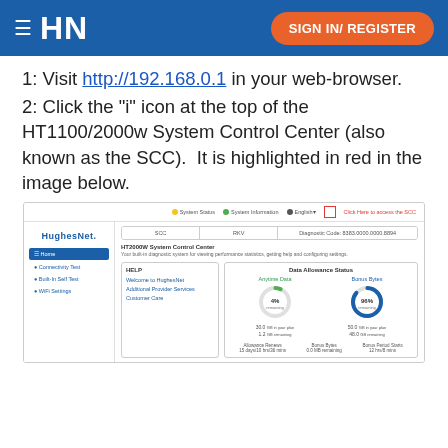HN | SIGN IN/ REGISTER
1: Visit http://192.168.0.1 in your web-browser.
2: Click the "i" icon at the top of the HT1100/2000w System Control Center (also known as the SCC).  It is highlighted in red in the image below.
[Figure (screenshot): Screenshot of the HughesNet HT2000W System Control Center (SCC) interface showing the dashboard with sidebar navigation (Home, Connectivity Test, Built-in Self Test, WiFi Settings), HELP panel with links (Welcome to HughesNet, Additional Provider Services, Customer Care), and Data Allowance Status showing Anytime Data 4% remaining (30.0 GB in your plan, 1.2 GB remaining) and Bonus Bytes 96% remaining (50.0 GB in your plan, 48.0 GB remaining). The 'i' icon is highlighted in red.]